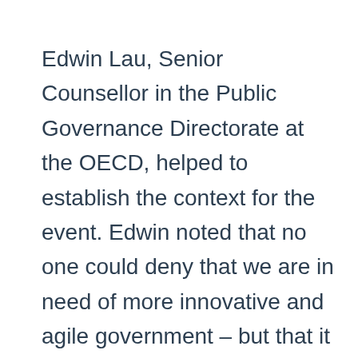Edwin Lau, Senior Counsellor in the Public Governance Directorate at the OECD, helped to establish the context for the event. Edwin noted that no one could deny that we are in need of more innovative and agile government – but that it is also important that this is a deliberate and systemic approach rather than one where anything goes. This is what the work of the OPSI team, and their colleagues in the Open and Innovative Government Division at the